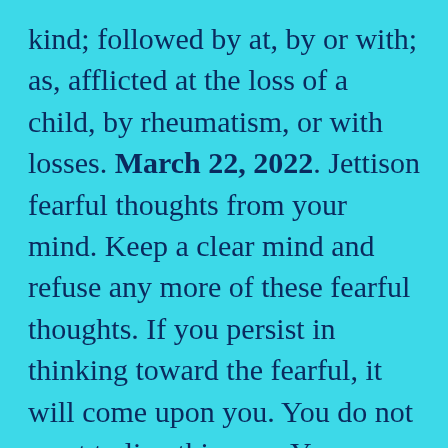kind; followed by at, by or with; as, afflicted at the loss of a child, by rheumatism, or with losses. March 22, 2022. Jettison fearful thoughts from your mind. Keep a clear mind and refuse any more of these fearful thoughts. If you persist in thinking toward the fearful, it will come upon you. You do not want to live this way. You are not sure this is correct. I say, yes, this is correct and will surely come about! Get your mind on faithful thoughts and faithful things. It takes the same amount of energy to keep your mind on the faithful as it does the fearful.